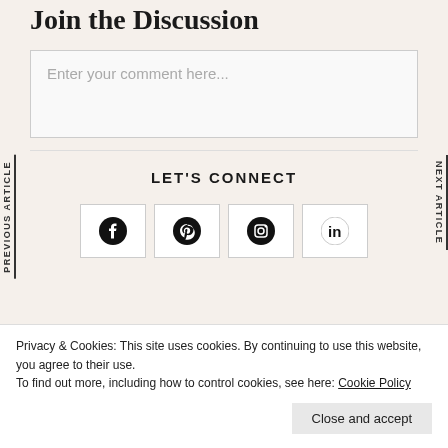Join the Discussion
Enter your comment here...
PREVIOUS ARTICLE
NEXT ARTICLE
LET'S CONNECT
[Figure (other): Social media icon buttons for Facebook, Pinterest, Instagram, and LinkedIn]
Privacy & Cookies: This site uses cookies. By continuing to use this website, you agree to their use.
To find out more, including how to control cookies, see here: Cookie Policy
Close and accept